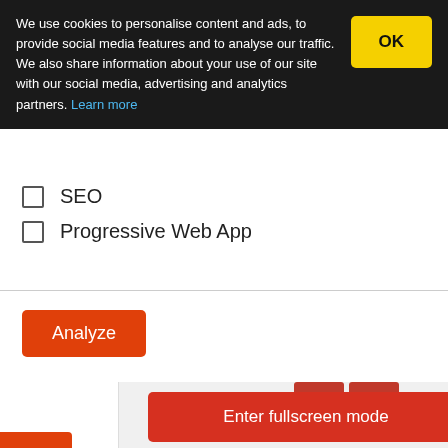We use cookies to personalise content and ads, to provide social media features and to analyse our traffic. We also share information about your use of our site with our social media, advertising and analytics partners. Learn more
SEO
Progressive Web App
Analyze
Enter fullscreen mode
Lighthouse Report Viewer
To view a report: Paste its json or a Gist URL.
You can also drag 'n drop the file or click